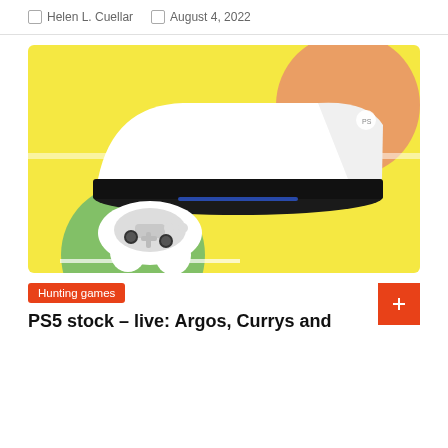Helen L. Cuellar   August 4, 2022
[Figure (photo): PlayStation 5 console (disc edition) lying flat with DualSense controller on a yellow background with decorative salmon/pink circle top-right and green circle bottom-left]
Hunting games
PS5 stock – live: Argos, Currys and